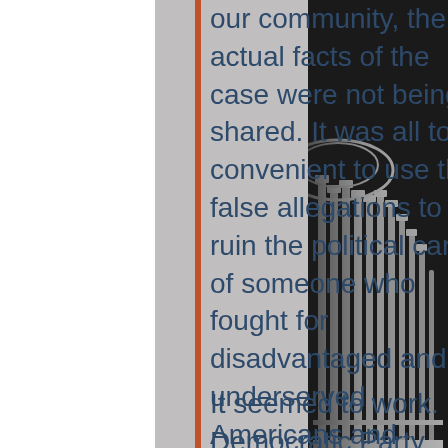our community, the actual facts of the case were not being shared. It was all too convenient to use the false allegations to ruin the political career of someone who fought for disadvantaged and underserved Americans and someone who held his own party accountable while taking on conservatives nationally.
It seemed to work. Democratic Party leaders turned on Greyson publicly